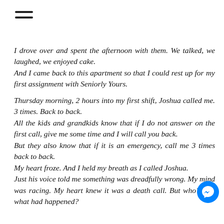[Figure (other): Hamburger menu icon (three horizontal lines)]
I drove over and spent the afternoon with them. We talked, we laughed, we enjoyed cake.
And I came back to this apartment so that I could rest up for my first assignment with Seniorly Yours.
Thursday morning, 2 hours into my first shift, Joshua called me. 3 times. Back to back.
All the kids and grandkids know that if I do not answer on the first call, give me some time and I will call you back.
But they also know that if it is an emergency, call me 3 times back to back.
My heart froze. And I held my breath as I called Joshua.
Just his voice told me something was dreaded wrong. My mind was racing. My heart knew it was a death call. But who? And what had happened?
[Figure (logo): Facebook Messenger blue circle chat icon]